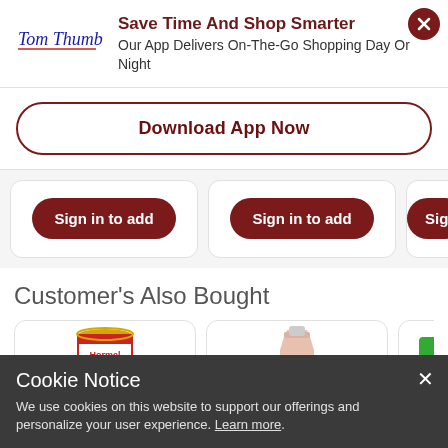Save Time And Shop Smarter
Our App Delivers On-The-Go Shopping Day Or Night
Download App Now
Sign in to add
Sign in to add
Sig
Customer's Also Bought
[Figure (photo): Hormel Chili can product image]
[Figure (photo): Pink beverage bottle product image]
[Figure (photo): Green product partially visible]
Cookie Notice
We use cookies on this website to support our offerings and personalize your user experience. Learn more.